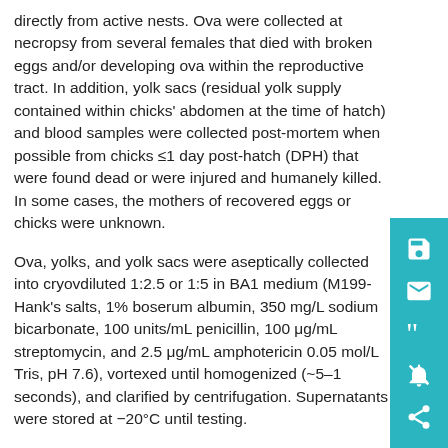directly from active nests. Ova were collected at necropsy from several females that died with broken eggs and/or developing ova within the reproductive tract. In addition, yolk sacs (residual yolk supply contained within chicks' abdomen at the time of hatch) and blood samples were collected post-mortem when possible from chicks ≤1 day post-hatch (DPH) that were found dead or were injured and humanely killed. In some cases, the mothers of recovered eggs or chicks were unknown.
Ova, yolks, and yolk sacs were aseptically collected into cryov… diluted 1:2.5 or 1:5 in BA1 medium (M199-Hank's salts, 1% bo… serum albumin, 350 mg/L sodium bicarbonate, 100 units/mL penicillin, 100 μg/mL streptomycin, and 2.5 μg/mL amphoteric… in 0.05 mol/L Tris, pH 7.6), vortexed until homogenized (~5–1… seconds), and clarified by centrifugation. Supernatants were stored at −20°C until testing.
Some sparrow chicks were bled serially over time, beginning between 1 and 9 DPH and then sampled every 3–5 days until fledging or soon thereafter (up to 26 DPH). Just before collect… of blood samples, nestlings were weighed with a Pesola spring balance (Pesola AG, Baar, Switzerland) of accuracy to 1 g. Blood…